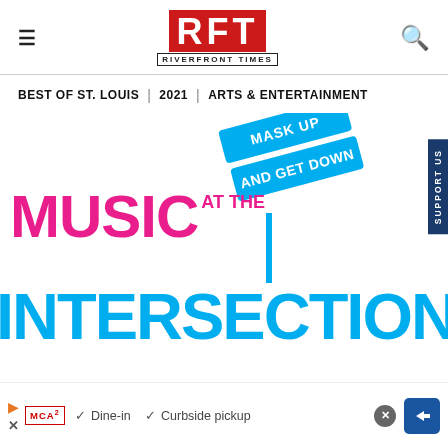RFT RIVERFRONT TIMES
BEST OF ST. LOUIS | 2021 | ARTS & ENTERTAINMENT
[Figure (illustration): Music at the Intersection event logo with street sign showing 'Mask Up And Get Down' in cyan/blue, 'MUSIC AT THE' in magenta/pink, and 'INTERSECTION' in cyan/blue bold text]
✓ Dine-in ✓ Curbside pickup